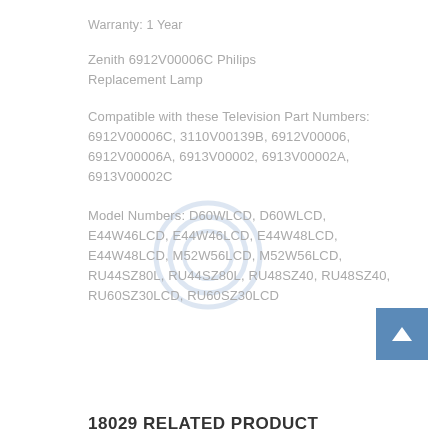Warranty: 1 Year
Zenith 6912V00006C Philips Replacement Lamp
Compatible with these Television Part Numbers: 6912V00006C, 3110V00139B, 6912V00006, 6912V00006A, 6913V00002, 6913V00002A, 6913V00002C
Model Numbers: D60WLCD, D60WLCD, E44W46LCD, E44W46LCD, E44W48LCD, E44W48LCD, M52W56LCD, M52W56LCD, RU44SZ80L, RU44SZ80L, RU48SZ40, RU48SZ40, RU60SZ30LCD, RU60SZ30LCD
18029 RELATED PRODUCT